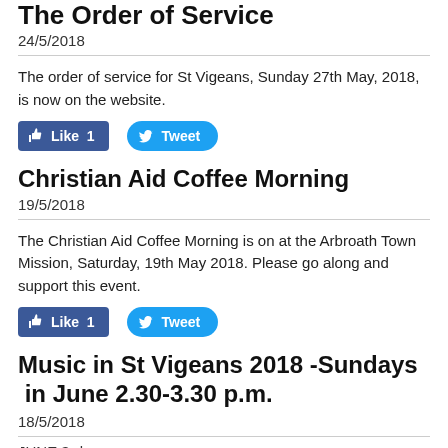The Order of Service
24/5/2018
The order of service for St Vigeans, Sunday 27th May, 2018, is now on the website.
[Figure (other): Facebook Like button (count: 1) and Twitter Tweet button]
Christian Aid Coffee Morning
19/5/2018
The Christian Aid Coffee Morning is on at the Arbroath Town Mission, Saturday, 19th May 2018.  Please go along and support this event.
[Figure (other): Facebook Like button (count: 1) and Twitter Tweet button]
Music in St Vigeans 2018 -Sundays  in June 2.30-3.30 p.m.
18/5/2018
JUNE 3rd